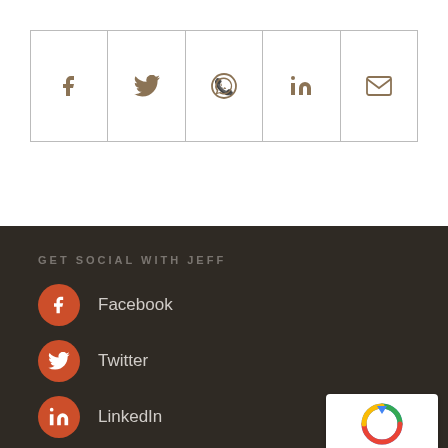[Figure (infographic): Social share bar with icons for Facebook, Twitter, WhatsApp, LinkedIn, and Email]
GET SOCIAL WITH JEFF
[Figure (infographic): Social media links: Facebook, Twitter, LinkedIn with orange circle icons]
[Figure (other): reCAPTCHA Privacy - Terms badge]